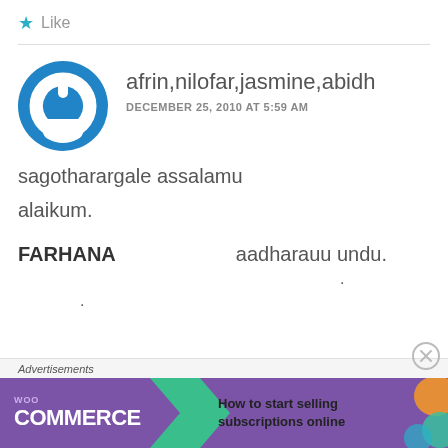★ Like
afrin,nilofar,jasmine,abidh
DECEMBER 25, 2010 AT 5:59 AM
sagotharargale assalamu alaikum.
FARHANA    aadharauu undu.
.
.
Advertisements
[Figure (screenshot): WooCommerce advertisement banner: 'How to start selling subscriptions online']